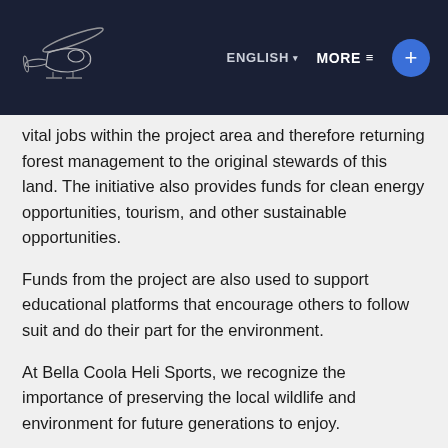ENGLISH ▾   MORE ≡   +
vital jobs within the project area and therefore returning forest management to the original stewards of this land. The initiative also provides funds for clean energy opportunities, tourism, and other sustainable opportunities.
Funds from the project are also used to support educational platforms that encourage others to follow suit and do their part for the environment.
At Bella Coola Heli Sports, we recognize the importance of preserving the local wildlife and environment for future generations to enjoy.
DOES BCHS DO ANYTHING ELSE TO BE ENVIRONMENTALLY RESPONSIBLE?
To continue to offer...